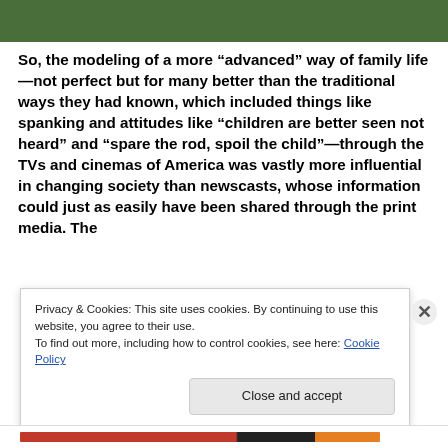[Figure (photo): A strip of green foliage/leaves at the top of the page, cropped to a narrow horizontal band.]
So, the modeling of a more “advanced” way of family life—not perfect but for many better than the traditional ways they had known, which included things like spanking and attitudes like “children are better seen not heard” and “spare the rod, spoil the child”—through the TVs and cinemas of America was vastly more influential in changing society than newscasts, whose information could just as easily have been shared through the print media. The
Privacy & Cookies: This site uses cookies. By continuing to use this website, you agree to their use.
To find out more, including how to control cookies, see here: Cookie Policy